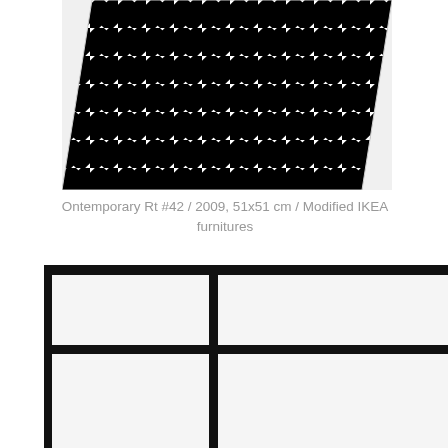[Figure (photo): Black and white diagonal stripes pattern on what appears to be a modified IKEA furniture surface, photographed at an angle showing the top portion]
Ontemporary Rt #42 / 2009, 51x51 cm / Modified IKEA furnitures
[Figure (photo): A modified IKEA furniture piece painted white with thick black horizontal and vertical lines forming a grid pattern reminiscent of Mondrian-style composition, viewed from the front]